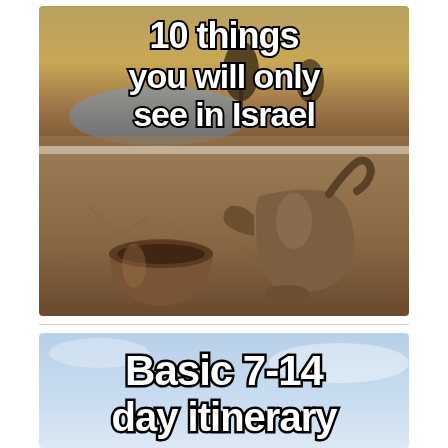[Figure (photo): Photo of a traditional metal tea cup and kettle/dallah on dry cracked earth with a river and trees in the background at dusk, with bold white text outlined in black reading '10 things you will only see in Israel']
[Figure (photo): Partial photo with light blue sky background and bold white text outlined in black reading 'Basic 7-14 day itinerary for Israel' (partially cut off)]